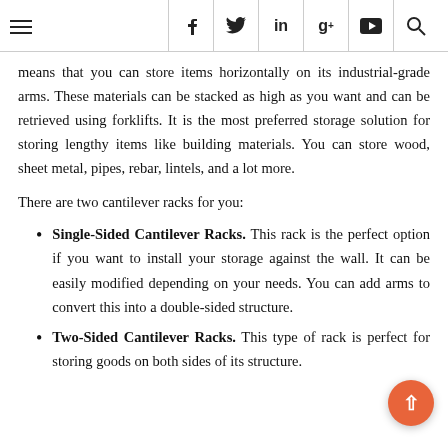≡  f  𝐲  in  g⁺  ▶  🔍
means that you can store items horizontally on its industrial-grade arms. These materials can be stacked as high as you want and can be retrieved using forklifts. It is the most preferred storage solution for storing lengthy items like building materials. You can store wood, sheet metal, pipes, rebar, lintels, and a lot more.
There are two cantilever racks for you:
Single-Sided Cantilever Racks. This rack is the perfect option if you want to install your storage against the wall. It can be easily modified depending on your needs. You can add arms to convert this into a double-sided structure.
Two-Sided Cantilever Racks. This type of rack is perfect for storing goods on both sides of its structure.